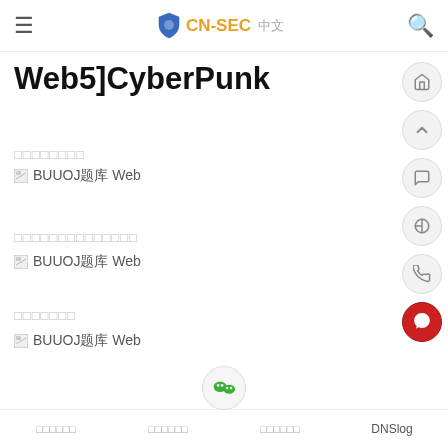CN-SEC 中文
Web5]CyberPunk
□□□□□□□□
[Figure (screenshot): Broken image placeholder with text: BUUOJ题库 Web]
□□□□□□□□□□□□□□
[Figure (screenshot): Broken image placeholder with text: BUUOJ题库 Web]
□□□□□□□
[Figure (screenshot): Broken image placeholder with text: BUUOJ题库 Web]
□□□□□□   □□□□□□   □□□□□□□□   DNSlog